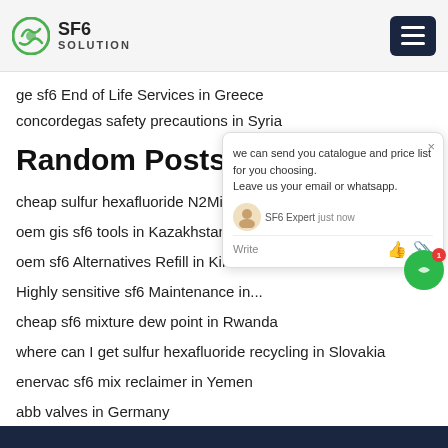SF6 SOLUTION
ge sf6 End of Life Services in Greece
concordegas safety precautions in Syria
Random Posts:
cheap sulfur hexafluoride N2Mixtures in...
oem gis sf6 tools in Kazakhstan
oem sf6 Alternatives Refill in Kiribati
Highly sensitive sf6 Maintenance in...
cheap sf6 mixture dew point in Rwanda
where can I get sulfur hexafluoride recycling in Slovakia
enervac sf6 mix reclaimer in Yemen
abb valves in Germany